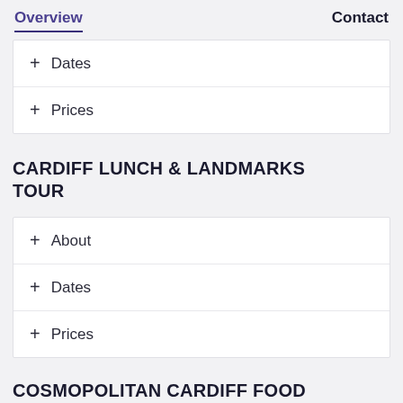Overview    Contact
+ Dates
+ Prices
CARDIFF LUNCH & LANDMARKS TOUR
+ About
+ Dates
+ Prices
COSMOPOLITAN CARDIFF FOOD